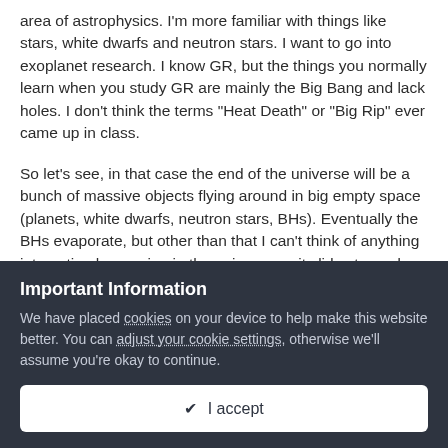area of astrophysics. I'm more familiar with things like stars, white dwarfs and neutron stars. I want to go into exoplanet research. I know GR, but the things you normally learn when you study GR are mainly the Big Bang and lack holes. I don't think the terms "Heat Death" or "Big Rip" ever came up in class.
So let's see, in that case the end of the universe will be a bunch of massive objects flying around in big empty space (planets, white dwarfs, neutron stars, BHs). Eventually the BHs evaporate, but other than that I can't think of anything interesting happening in the universe as it slides toward increasing entropy.
Edited October 31, 2010 by DanielC
Important Information
We have placed cookies on your device to help make this website better. You can adjust your cookie settings, otherwise we'll assume you're okay to continue.
✔ I accept